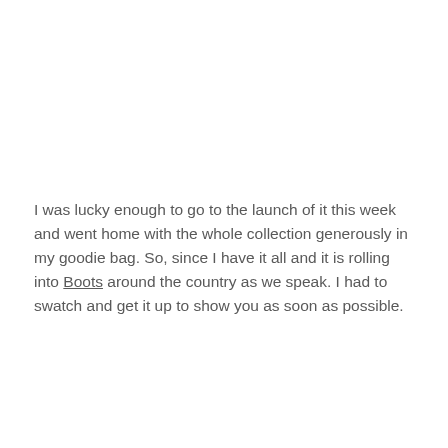I was lucky enough to go to the launch of it this week and went home with the whole collection generously in my goodie bag. So, since I have it all and it is rolling into Boots around the country as we speak. I had to swatch and get it up to show you as soon as possible.